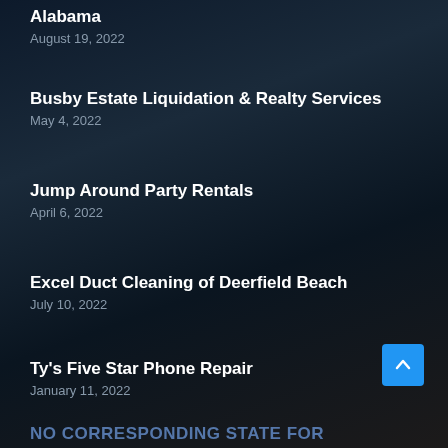Alabama
August 19, 2022
Busby Estate Liquidation & Realty Services
May 4, 2022
Jump Around Party Rentals
April 6, 2022
Excel Duct Cleaning of Deerfield Beach
July 10, 2022
Ty's Five Star Phone Repair
January 11, 2022
NO CORRESPONDING STATE FOR